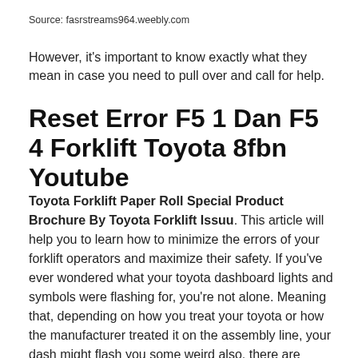Source: fasrstreams964.weebly.com
However, it's important to know exactly what they mean in case you need to pull over and call for help.
Reset Error F5 1 Dan F5 4 Forklift Toyota 8fbn Youtube
Toyota Forklift Paper Roll Special Product Brochure By Toyota Forklift Issuu. This article will help you to learn how to minimize the errors of your forklift operators and maximize their safety. If you've ever wondered what your toyota dashboard lights and symbols were flashing for, you're not alone. Meaning that, depending on how you treat your toyota or how the manufacturer treated it on the assembly line, your dash might flash you some weird also, there are some icons that will light up each time you turn on the ignition. It's a normal thing, meaning that the main computer is checking if. This problem can be anything from a faulty